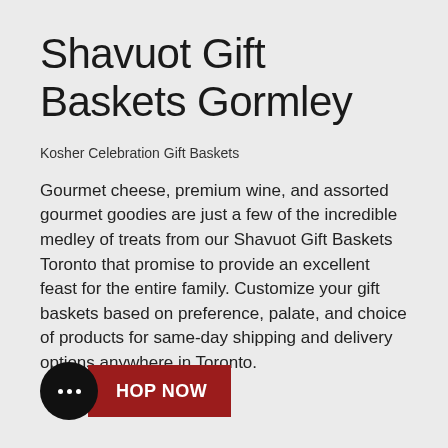Shavuot Gift Baskets Gormley
Kosher Celebration Gift Baskets
Gourmet cheese, premium wine, and assorted gourmet goodies are just a few of the incredible medley of treats from our Shavuot Gift Baskets Toronto that promise to provide an excellent feast for the entire family. Customize your gift baskets based on preference, palate, and choice of products for same-day shipping and delivery options anywhere in Toronto.
[Figure (other): Chat bubble icon (black circle with three white dots) and a dark red SHOP NOW button]